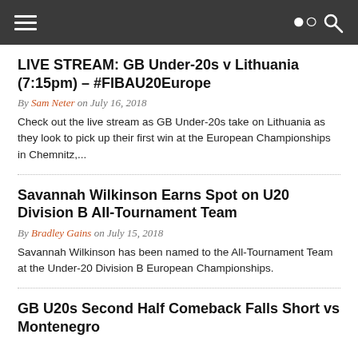Navigation header with hamburger menu and search icon
LIVE STREAM: GB Under-20s v Lithuania (7:15pm) – #FIBAU20Europe
By Sam Neter on July 16, 2018
Check out the live stream as GB Under-20s take on Lithuania as they look to pick up their first win at the European Championships in Chemnitz,...
Savannah Wilkinson Earns Spot on U20 Division B All-Tournament Team
By Bradley Gains on July 15, 2018
Savannah Wilkinson has been named to the All-Tournament Team at the Under-20 Division B European Championships.
GB U20s Second Half Comeback Falls Short vs Montenegro